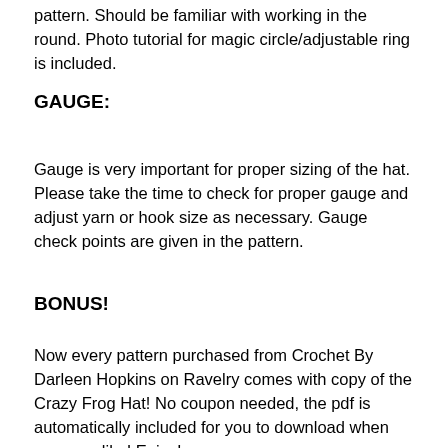pattern. Should be familiar with working in the round. Photo tutorial for magic circle/adjustable ring is included.
GAUGE:
Gauge is very important for proper sizing of the hat. Please take the time to check for proper gauge and adjust yarn or hook size as necessary. Gauge check points are given in the pattern.
BONUS!
Now every pattern purchased from Crochet By Darleen Hopkins on Ravelry comes with copy of the Crazy Frog Hat! No coupon needed, the pdf is automatically included for you to download when ever you like! Enjoy!